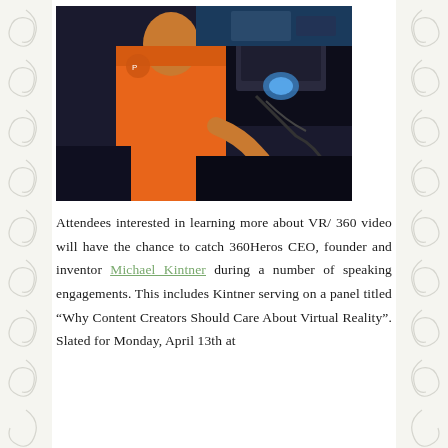[Figure (photo): Person in orange shirt interacting with VR/360 camera equipment in a dark setting]
Attendees interested in learning more about VR/ 360 video will have the chance to catch 360Heros CEO, founder and inventor Michael Kintner during a number of speaking engagements. This includes Kintner serving on a panel titled “Why Content Creators Should Care About Virtual Reality”. Slated for Monday, April 13th at